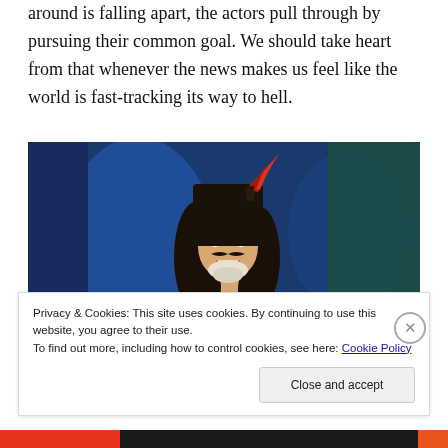around is falling apart, the actors pull through by pursuing their common goal. We should take heart from that whenever the news makes us feel like the world is fast-tracking its way to hell.
[Figure (photo): Actor dressed as Captain Hook in theatrical costume with large feathered hat, curly black hair and beard, red coat, performing on stage with blue theatrical backdrop.]
Privacy & Cookies: This site uses cookies. By continuing to use this website, you agree to their use. To find out more, including how to control cookies, see here: Cookie Policy